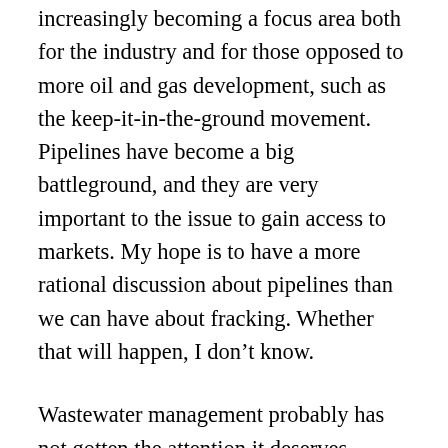increasingly becoming a focus area both for the industry and for those opposed to more oil and gas development, such as the keep-it-in-the-ground movement. Pipelines have become a big battleground, and they are very important to the issue to gain access to markets. My hope is to have a more rational discussion about pipelines than we can have about fracking. Whether that will happen, I don’t know.
Wastewater management probably has not gotten the attention it deserves. Multiple experts who work on the whole suite of oil and gas consistently find wastewater management is at the top of the list as the thing that can cause the biggest environmental challenges. It can involve the